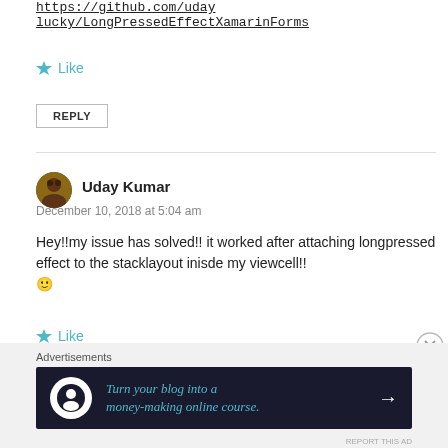https://github.com/uday lucky/LongPressedEffectXamarinForms
★ Like
REPLY
Uday Kumar
December 10, 2018 at 5:04 am
Hey!!my issue has solved!! it worked after attaching longpressed effect to the stacklayout inisde my viewcell!! 🙂
★ Like
[Figure (infographic): Advertisement banner: Turn your blog into a money-making online course.]